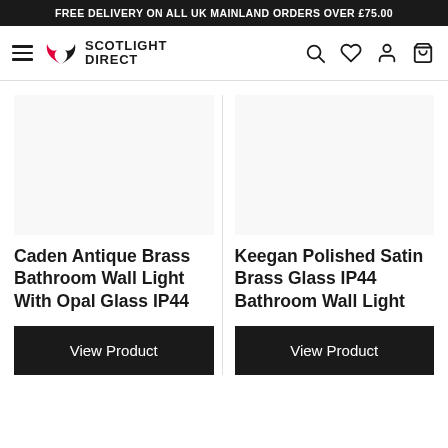FREE DELIVERY ON ALL UK MAINLAND ORDERS OVER £75.00
[Figure (logo): Scotlight Direct logo with flame/wing icon in red and black, and text SCOTLIGHT DIRECT]
Caden Antique Brass Bathroom Wall Light With Opal Glass IP44
View Product
Keegan Polished Satin Brass Glass IP44 Bathroom Wall Light
View Product